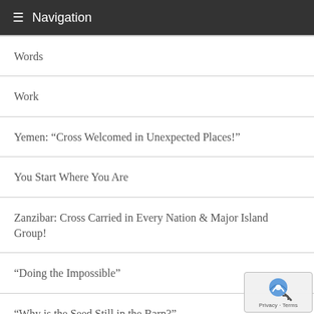Navigation
Words
Work
Yemen: “Cross Welcomed in Unexpected Places!”
You Start Where You Are
Zanzibar: Cross Carried in Every Nation & Major Island Group!
“Doing the Impossible”
“Why is the Seed Still in the Barn?”